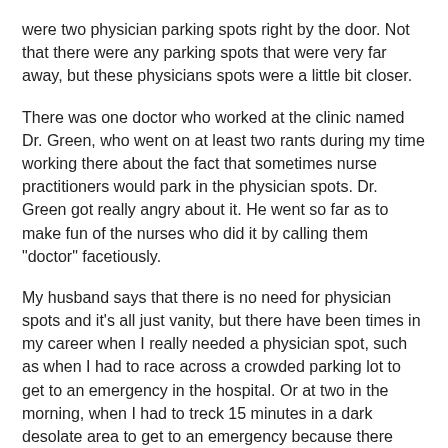were two physician parking spots right by the door. Not that there were any parking spots that were very far away, but these physicians spots were a little bit closer.
There was one doctor who worked at the clinic named Dr. Green, who went on at least two rants during my time working there about the fact that sometimes nurse practitioners would park in the physician spots. Dr. Green got really angry about it. He went so far as to make fun of the nurses who did it by calling them "doctor" facetiously.
My husband says that there is no need for physician spots and it's all just vanity, but there have been times in my career when I really needed a physician spot, such as when I had to race across a crowded parking lot to get to an emergency in the hospital. Or at two in the morning, when I had to treck 15 minutes in a dark desolate area to get to an emergency because there were no physician spots by the hospital. So it's not all about vanity. But I also feel like in an outpatient clinic, it sort of is about vanity.